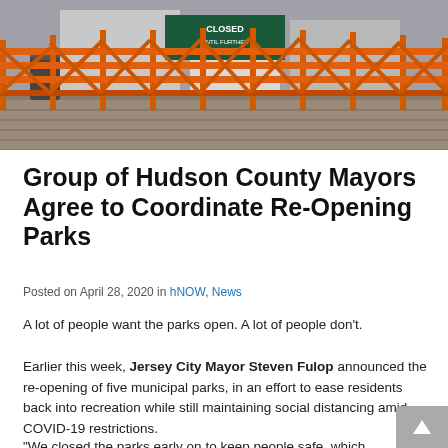[Figure (photo): Orange metal crowd-control barricades/fences in front of a closed area with a sign reading CLOSED UNTIL FURTHER NOTICE, on a brick/paved surface.]
Group of Hudson County Mayors Agree to Coordinate Re-Opening Parks
Posted on April 28, 2020 in hNOW, News
A lot of people want the parks open. A lot of people don't.
Earlier this week, Jersey City Mayor Steven Fulop announced the re-opening of five municipal parks, in an effort to ease residents back into recreation while still maintaining social distancing amid COVID-19 restrictions.
“We closed the parks early on to keep people safe, which